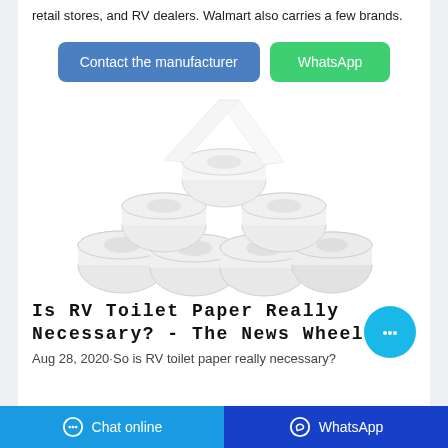retail stores, and RV dealers. Walmart also carries a few brands.
Contact the manufacturer | WhatsApp
[Figure (photo): Stack of white toilet paper rolls arranged in a pyramid shape on a white background.]
Is RV Toilet Paper Really Necessary? - The News Wheel
Aug 28, 2020·So is RV toilet paper really necessary?
Chat online | WhatsApp